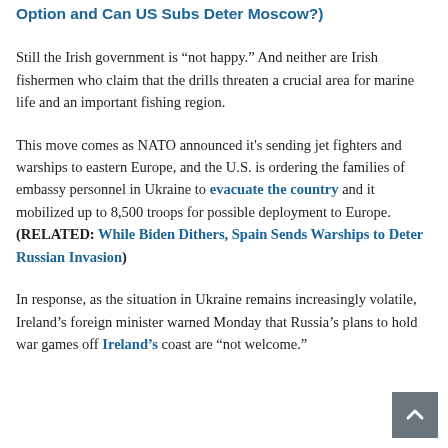Option and Can US Subs Deter Moscow?)
Still the Irish government is “not happy.” And neither are Irish fishermen who claim that the drills threaten a crucial area for marine life and an important fishing region.
This move comes as NATO announced it's sending jet fighters and warships to eastern Europe, and the U.S. is ordering the families of embassy personnel in Ukraine to evacuate the country and it mobilized up to 8,500 troops for possible deployment to Europe. (RELATED: While Biden Dithers, Spain Sends Warships to Deter Russian Invasion)
In response, as the situation in Ukraine remains increasingly volatile, Ireland's foreign minister warned Monday that Russia's plans to hold war games off Ireland's coast are “not welcome.”